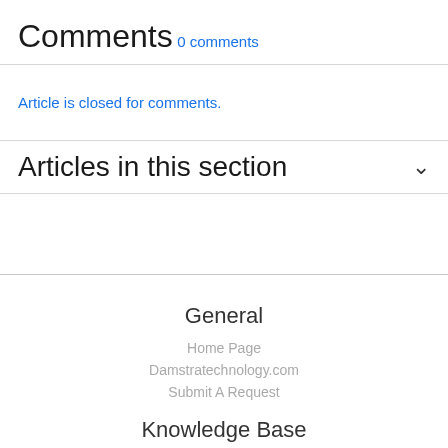Comments
0 comments
Article is closed for comments.
Articles in this section
General
Home Page
Damstratechnology.com
Submit A Request
Knowledge Base
Dashboard